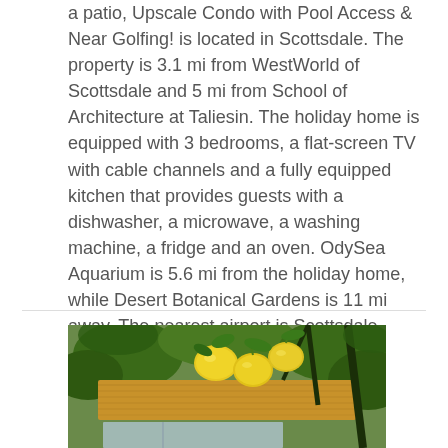a patio, Upscale Condo with Pool Access & Near Golfing! is located in Scottsdale. The property is 3.1 mi from WestWorld of Scottsdale and 5 mi from School of Architecture at Taliesin. The holiday home is equipped with 3 bedrooms, a flat-screen TV with cable channels and a fully equipped kitchen that provides guests with a dishwasher, a microwave, a washing machine, a fridge and an oven. OdySea Aquarium is 5.6 mi from the holiday home, while Desert Botanical Gardens is 11 mi away. The nearest airport is Scottsdale Airport, 1.2 mi from Upscale Condo with Pool Access &.
[Figure (photo): Outdoor photo looking up through a lemon tree with yellow lemons hanging from branches, with green leaves and a wooden ceiling/patio structure visible in the background.]